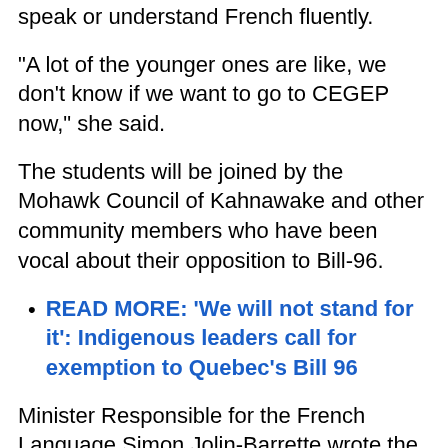speak or understand French fluently.
"A lot of the younger ones are like, we don't know if we want to go to CEGEP now," she said.
The students will be joined by the Mohawk Council of Kahnawake and other community members who have been vocal about their opposition to Bill-96.
READ MORE: 'We will not stand for it': Indigenous leaders call for exemption to Quebec's Bill 96
Minister Responsible for the French Language Simon Jolin-Barrette wrote the bill and told CTV News after the bill was first presented that it